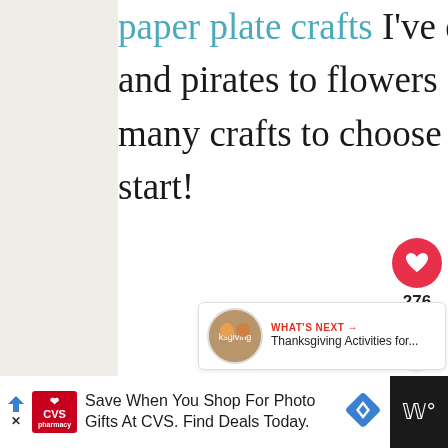paper plate crafts I've discovered. From mermaids and pirates to flowers and summer fruit, there are so many crafts to choose from you won't know where to start!
The best summer handprint crafts for preschool or kindergarten kids. Sunshine, ocean animals, and watermelon – they are all here!
[Figure (infographic): Social sharing sidebar with heart/like button showing 276 likes, and a share button]
[Figure (infographic): What's Next card showing Thanksgiving Activities for... with thumbnail image]
[Figure (infographic): CVS Pharmacy advertisement banner: Save When You Shop For Photo Gifts At CVS. Find Deals Today.]